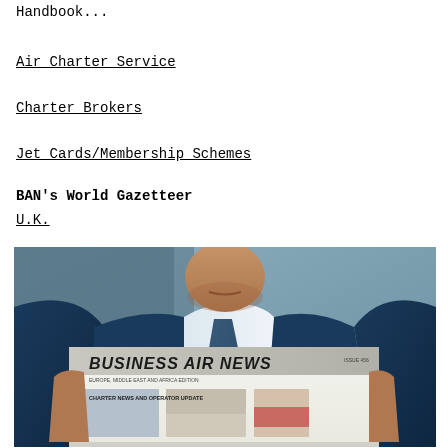Handbook...
Air Charter Service
Charter Brokers
Jet Cards/Membership Schemes
BAN's World Gazetteer
U.K.
[Figure (photo): A businessman in a blue suit and tie holding a copy of Business Air News magazine/newspaper, photographed from the chin down, with the magazine cover visible showing 'BUSINESS AIR NEWS' text and news photographs.]